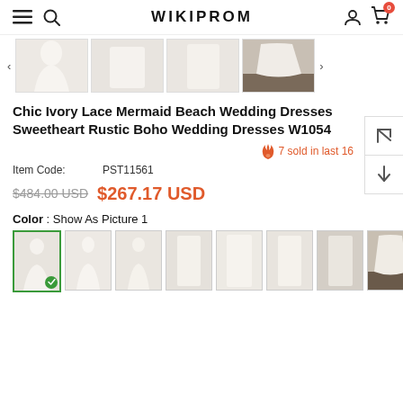WIKIPROM
[Figure (photo): Four thumbnail photos of ivory lace mermaid wedding dress from different angles]
Chic Ivory Lace Mermaid Beach Wedding Dresses Sweetheart Rustic Boho Wedding Dresses W1054
7 sold in last 16
Item Code: PST11561
$484.00 USD  $267.17 USD
Color : Show As Picture 1
[Figure (photo): Eight color/style thumbnail options for the wedding dress, first one selected with green checkmark]